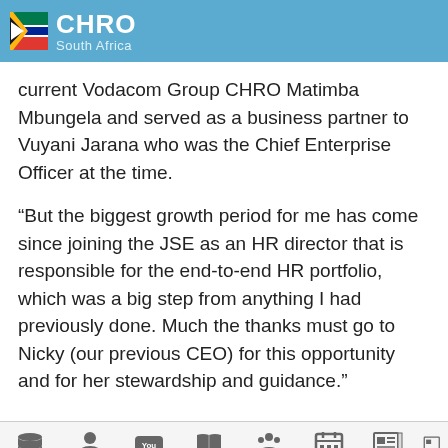CHRO South Africa
current Vodacom Group CHRO Matimba Mbungela and served as a business partner to Vuyani Jarana who was the Chief Enterprise Officer at the time.
“But the biggest growth period for me has come since joining the JSE as an HR director that is responsible for the end-to-end HR portfolio, which was a big step from anything I had previously done. Much the thanks must go to Nicky (our previous CEO) for this opportunity and for her stewardship and guidance.”
Home | Membership | CPD TV | Magazine | Photos | Events | Whitepapers | Pa